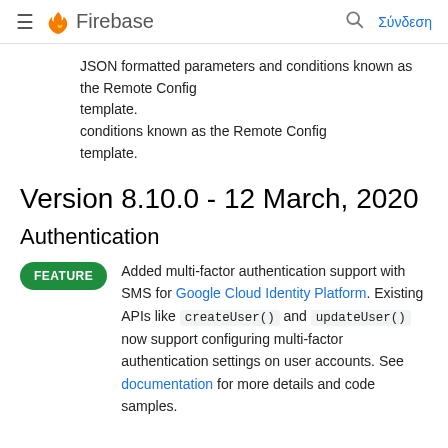Firebase — Σύνδεση
JSON formatted parameters and conditions known as the Remote Config template.
Version 8.10.0 - 12 March, 2020
Authentication
FEATURE — Added multi-factor authentication support with SMS for Google Cloud Identity Platform. Existing APIs like createUser() and updateUser() now support configuring multi-factor authentication settings on user accounts. See documentation for more details and code samples.